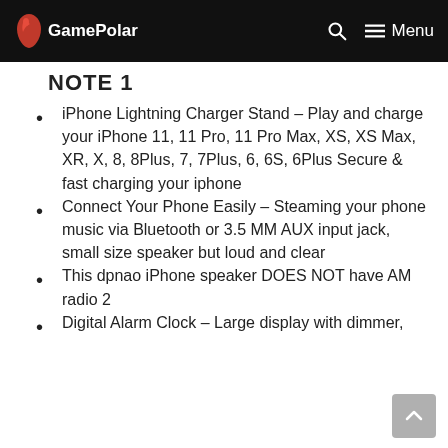GamePolar
NOTE 1
iPhone Lightning Charger Stand – Play and charge your iPhone 11, 11 Pro, 11 Pro Max, XS, XS Max, XR, X, 8, 8Plus, 7, 7Plus, 6, 6S, 6Plus Secure & fast charging your iphone
Connect Your Phone Easily – Steaming your phone music via Bluetooth or 3.5 MM AUX input jack, small size speaker but loud and clear
This dpnao iPhone speaker DOES NOT have AM radio 2
Digital Alarm Clock – Large display with dimmer,